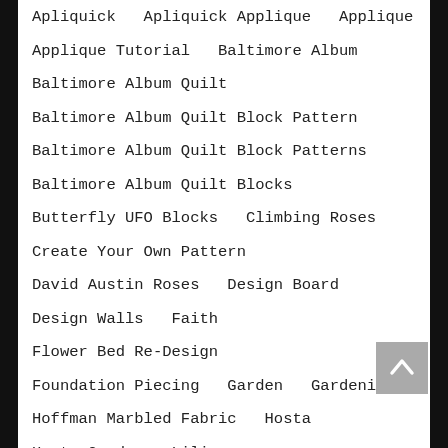Apliquick   Apliquick Applique   Applique
Applique Tutorial   Baltimore Album
Baltimore Album Quilt
Baltimore Album Quilt Block Pattern
Baltimore Album Quilt Block Patterns
Baltimore Album Quilt Blocks
Butterfly UFO Blocks   Climbing Roses
Create Your Own Pattern
David Austin Roses   Design Board
Design Walls   Faith
Flower Bed Re-Design
Foundation Piecing   Garden   Gardening
Hoffman Marbled Fabric   Hosta
Hosta Garden   Lilies